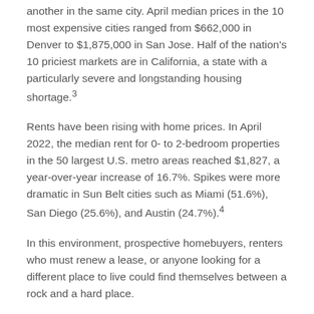another in the same city. April median prices in the 10 most expensive cities ranged from $662,000 in Denver to $1,875,000 in San Jose. Half of the nation's 10 priciest markets are in California, a state with a particularly severe and longstanding housing shortage.³
Rents have been rising with home prices. In April 2022, the median rent for 0- to 2-bedroom properties in the 50 largest U.S. metro areas reached $1,827, a year-over-year increase of 16.7%. Spikes were more dramatic in Sun Belt cities such as Miami (51.6%), San Diego (25.6%), and Austin (24.7%).⁴
In this environment, prospective homebuyers, renters who must renew a lease, or anyone looking for a different place to live could find themselves between a rock and a hard place.
Affordability Is Waning
The next line of text continues on next page...